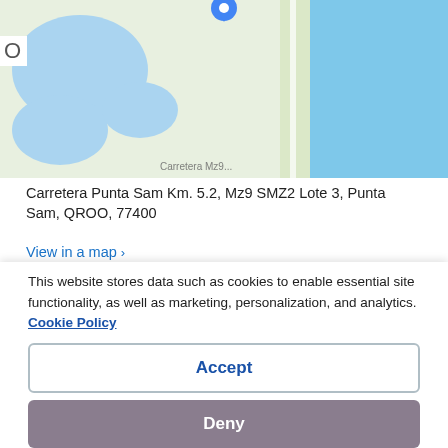[Figure (map): Google Maps satellite/street map showing coastal area with water bodies, showing location near Punta Sam. Blue location pin visible at top center.]
Carretera Punta Sam Km. 5.2, Mz9 SMZ2 Lote 3, Punta Sam, QROO, 77400
View in a map >
Main amenities
Daily housekeeping
On the beach
6 restaurants and 5 bars/lounges
This website stores data such as cookies to enable essential site functionality, as well as marketing, personalization, and analytics. Cookie Policy
Accept
Deny